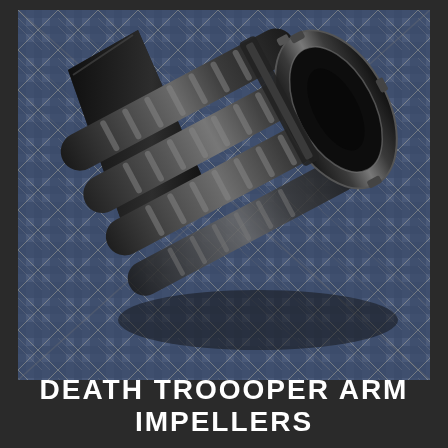[Figure (photo): A photograph of Death Trooper arm impellers — dark metallic cylindrical components with ridged surfaces and notched ends, arranged in a bundle on a blue plaid fabric background.]
DEATH TROOOPER ARM IMPELLERS